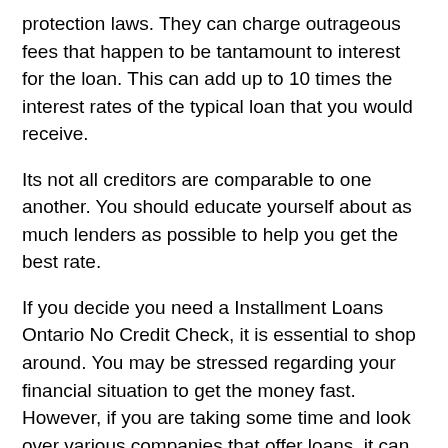protection laws. They can charge outrageous fees that happen to be tantamount to interest for the loan. This can add up to 10 times the interest rates of the typical loan that you would receive.
Its not all creditors are comparable to one another. You should educate yourself about as much lenders as possible to help you get the best rate.
If you decide you need a Installment Loans Ontario No Credit Check, it is essential to shop around. You may be stressed regarding your financial situation to get the money fast. However, if you are taking some time and look over various companies that offer loans, it can save you lots of money. You will notice that you spend less to repay excessive rates.
Use caution when giving out private data on Installment Loans Ontario No Credit Check applications. Make absolutely sure that you are currently working with a reputable company.